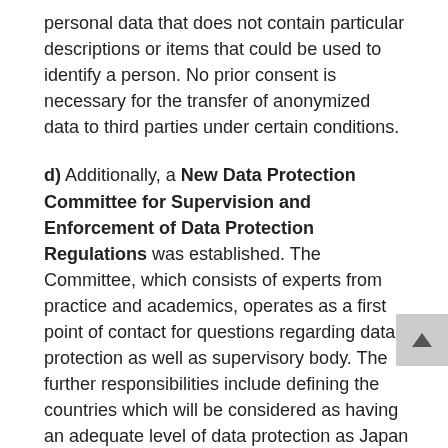personal data that does not contain particular descriptions or items that could be used to identify a person. No prior consent is necessary for the transfer of anonymized data to third parties under certain conditions.
d) Additionally, a New Data Protection Committee for Supervision and Enforcement of Data Protection Regulations was established. The Committee, which consists of experts from practice and academics, operates as a first point of contact for questions regarding data protection as well as supervisory body. The further responsibilities include defining the countries which will be considered as having an adequate level of data protection as Japan as further described under item 1. e) below.
e) Most importantly, the Amendment introduces